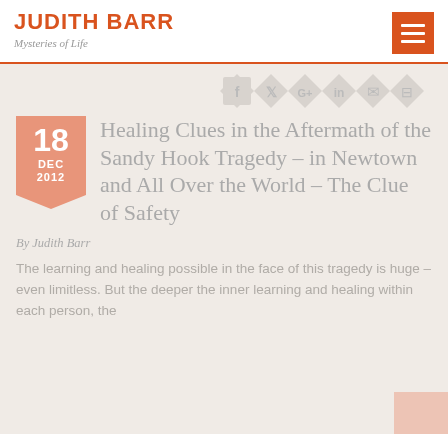JUDITH BARR
Mysteries of Life
18 DEC 2012
Healing Clues in the Aftermath of the Sandy Hook Tragedy – in Newtown and All Over the World – The Clue of Safety
By Judith Barr
The learning and healing possible in the face of this tragedy is huge – even limitless. But the deeper the inner learning and healing within each person, the